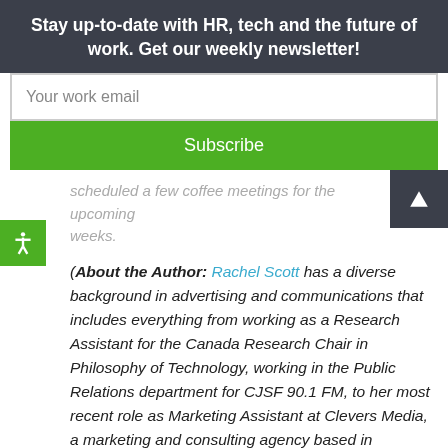Stay up-to-date with HR, tech and the future of work. Get our weekly newsletter!
Your work email
Subscribe
scheduled a few coffee meetings for the upcoming weeks.
(About the Author: Rachel Scott has a diverse background in advertising and communications that includes everything from working as a Research Assistant for the Canada Research Chair in Philosophy of Technology, working in the Public Relations department for CJSF 90.1 FM, to her most recent role as Marketing Assistant at Clevers Media, a marketing and consulting agency based in Vancouver, BC.
Currently Rachel is the Marketing and Content Manager at Boost Agents. Boost Agents brings